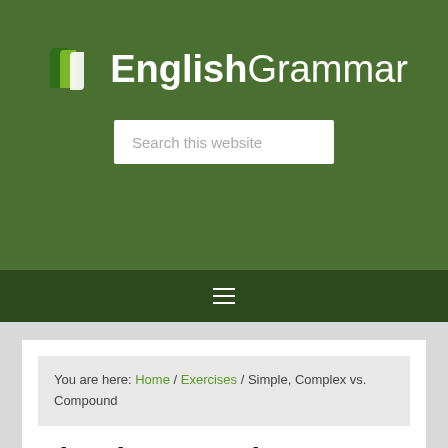[Figure (logo): EnglishGrammar website logo with green book icon and text 'EnglishGrammar']
Search this website
[Figure (other): Dark green navigation bar with hamburger menu icon]
You are here: Home / Exercises / Simple, Complex vs. Compound
Simple, Complex vs.